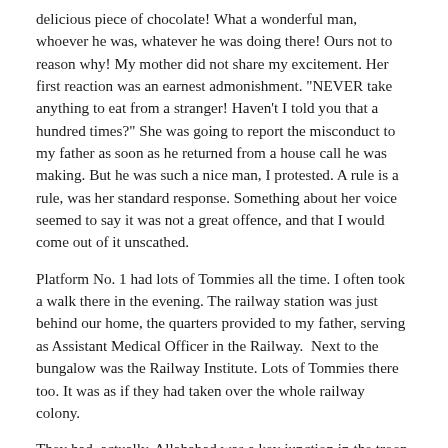delicious piece of chocolate! What a wonderful man, whoever he was, whatever he was doing there! Ours not to reason why! My mother did not share my excitement. Her first reaction was an earnest admonishment. "NEVER take anything to eat from a stranger! Haven't I told you that a hundred times?" She was going to report the misconduct to my father as soon as he returned from a house call he was making. But he was such a nice man, I protested. A rule is a rule, was her standard response. Something about her voice seemed to say it was not a great offence, and that I would come out of it unscathed.
Platform No. 1 had lots of Tommies all the time. I often took a walk there in the evening. The railway station was just behind our home, the quarters provided to my father, serving as Assistant Medical Officer in the Railway.  Next to the bungalow was the Railway Institute. Lots of Tommies there too. It was as if they had taken over the whole railway colony.
They had, actually. Allahabad was a key junction in the troop movements to the Burma and Eastern fronts in the war. It was a time of great anxiety for the grown-ups all around me. As I learned a year or two later, for them it was not just about a war being fought in distant lands, it